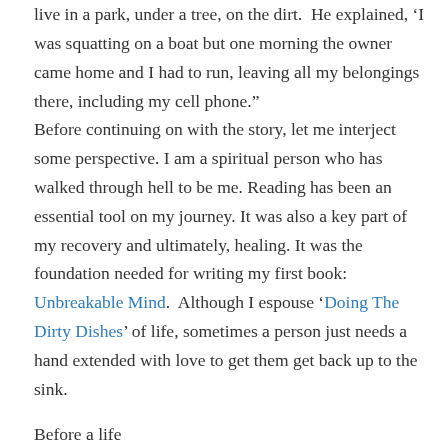live in a park, under a tree, on the dirt.  He explained, 'I was squatting on a boat but one morning the owner came home and I had to run, leaving all my belongings there, including my cell phone.'
Before continuing on with the story, let me interject some perspective. I am a spiritual person who has walked through hell to be me. Reading has been an essential tool on my journey. It was also a key part of my recovery and ultimately, healing. It was the foundation needed for writing my first book: Unbreakable Mind.  Although I espouse 'Doing The Dirty Dishes' of life, sometimes a person just needs a hand extended with love to get them get back up to the sink.
Before a life (2.5 hours a week) and...